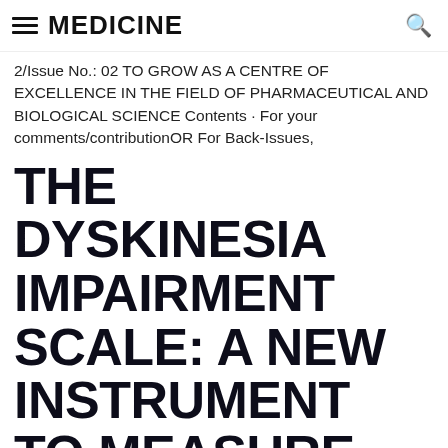MEDICINE
2/Issue No.: 02 TO GROW AS A CENTRE OF EXCELLENCE IN THE FIELD OF PHARMACEUTICAL AND BIOLOGICAL SCIENCE Contents · For your comments/contributionOR For Back-Issues,
THE DYSKINESIA IMPAIRMENT SCALE: A NEW INSTRUMENT TO MEASURE DYSTONIA AND CHOREOATHETOSIS IN DYSKINETIC CEREBRAL PALSY
DEVELOPMENTAL MEDICINE & CHILD NEUROLOGY The